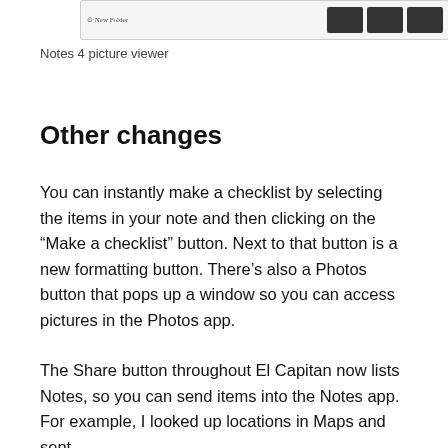[Figure (screenshot): Screenshot of Notes 4 picture viewer interface showing a toolbar with 'New Folder' label on the left and three dark thumbnail images on the right]
Notes 4 picture viewer
Other changes
You can instantly make a checklist by selecting the items in your note and then clicking on the “Make a checklist” button. Next to that button is a new formatting button. There’s also a Photos button that pops up a window so you can access pictures in the Photos app.
The Share button throughout El Capitan now lists Notes, so you can send items into the Notes app. For example, I looked up locations in Maps and sent